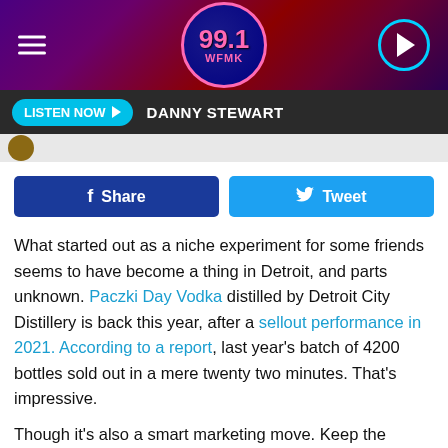[Figure (screenshot): 99.1 WFMK radio station header with hamburger menu, station logo, and play button on dark purple/maroon gradient background]
LISTEN NOW  DANNY STEWART
[Figure (other): Small profile thumbnail image]
f Share   Tweet
What started out as a niche experiment for some friends seems to have become a thing in Detroit, and parts unknown. Paczki Day Vodka distilled by Detroit City Distillery is back this year, after a sellout performance in 2021. According to a report, last year's batch of 4200 bottles sold out in a mere twenty two minutes. That's impressive.

Though it's also a smart marketing move. Keep the available supply low enough to make it more desirable, and then only sell it online. (though word is there are some "select liquor stores" that have a stash).